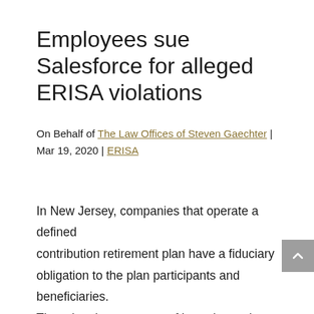Employees sue Salesforce for alleged ERISA violations
On Behalf of The Law Offices of Steven Gaechter | Mar 19, 2020 | ERISA
In New Jersey, companies that operate a defined contribution retirement plan have a fiduciary obligation to the plan participants and beneficiaries. There has been a wave of lawsuits against companies for alleged breaches of these fiduciary duties. One of the major grounds of lawsuit against